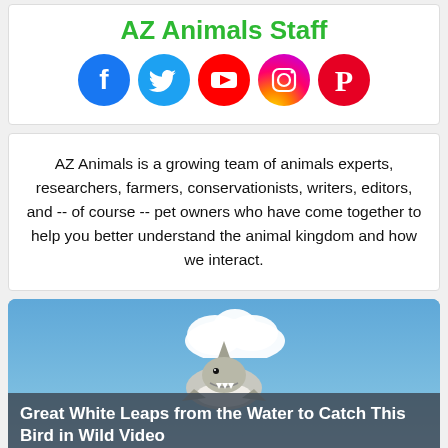AZ Animals Staff
[Figure (illustration): Row of social media icons: Facebook (blue circle with f), Twitter (blue circle with bird), YouTube (red circle with play button), Instagram (gradient circle with camera), Pinterest (red circle with P)]
AZ Animals is a growing team of animals experts, researchers, farmers, conservationists, writers, editors, and -- of course -- pet owners who have come together to help you better understand the animal kingdom and how we interact.
[Figure (photo): A great white shark leaping out of water against a blue sky with clouds, with a dark semi-transparent caption bar at the bottom reading 'Great White Leaps from the Water to Catch This Bird in Wild Video']